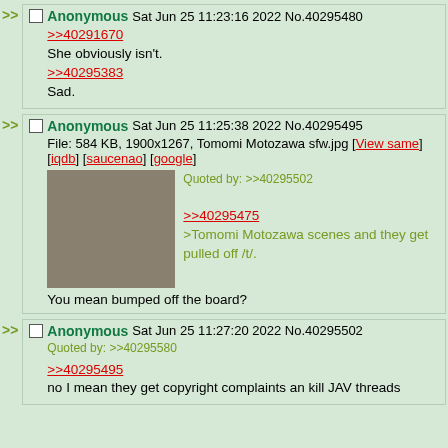>> Anonymous Sat Jun 25 11:23:16 2022 No.40295480
>>40291670
She obviously isn't.
>>40295383
Sad.
>> Anonymous Sat Jun 25 11:25:38 2022 No.40295495
File: 584 KB, 1900x1267, Tomomi Motozawa sfw.jpg [View same] [iqdb] [saucenao] [google]
Quoted by: >>40295502
>>40295475
>Tomomi Motozawa scenes and they get pulled off /t/.
You mean bumped off the board?
>> Anonymous Sat Jun 25 11:27:20 2022 No.40295502
Quoted by: >>40295580
>>40295495
no I mean they get copyright complaints an kill JAV threads